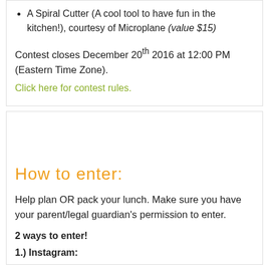A Spiral Cutter (A cool tool to have fun in the kitchen!), courtesy of Microplane (value $15)
Contest closes December 20th 2016 at 12:00 PM (Eastern Time Zone).
Click here for contest rules.
How to enter:
Help plan OR pack your lunch. Make sure you have your parent/legal guardian's permission to enter.
2 ways to enter!
1.) Instagram: